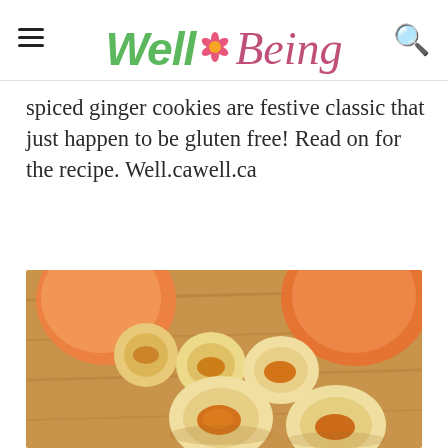Well Being
spiced ginger cookies are festive classic that just happen to be gluten free! Read on for the recipe. Well.cawell.ca
[Figure (photo): Photo of round thumbprint cookies filled with orange jam/jelly, arranged on a wooden surface with whole peaches in the background]